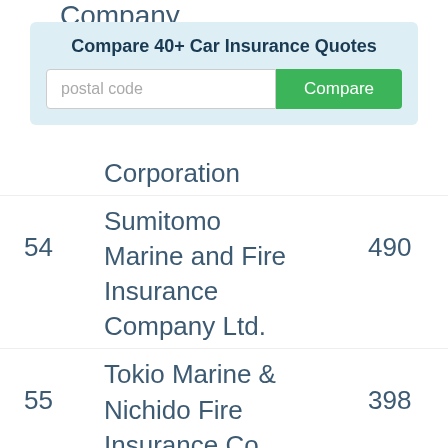Company
[Figure (other): Compare 40+ Car Insurance Quotes widget with postal code input and Compare button]
| # | Company | Value |
| --- | --- | --- |
| 54 | Sumitomo Marine and Fire Insurance Company Ltd. | 490 |
| 55 | Tokio Marine & Nichido Fire Insurance Co. Ltd. | 398 |
| 56 | Fortress Insurance | 330 |